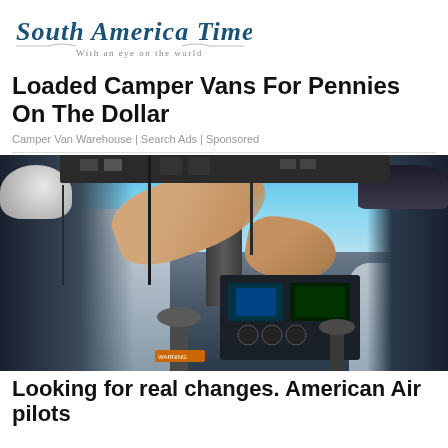[Figure (logo): South America Times logo with italic serif text and tagline 'With an eye on the world']
Loaded Camper Vans For Pennies On The Dollar
Camper Van Warehouse | Search Ads | Sponsored
[Figure (photo): Two pilots in a cockpit of an aircraft, one reaching up to overhead controls, cockpit instruments and blue sky visible through windows]
Looking for real changes. American Air pilots